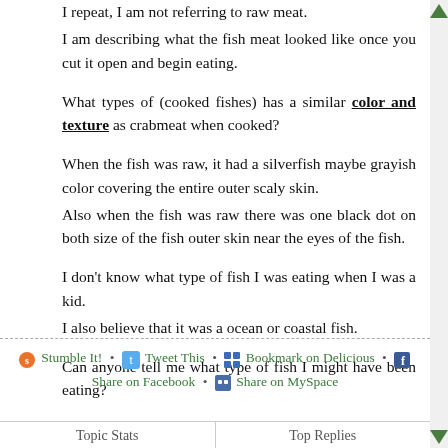I repeat, I am not referring to raw meat.
I am describing what the fish meat looked like once you cut it open and begin eating.
What types of (cooked fishes) has a similar color and texture as crabmeat when cooked?
When the fish was raw, it had a silverfish maybe grayish color covering the entire outer scaly skin.
Also when the fish was raw there was one black dot on both size of the fish outer skin near the eyes of the fish.
I don't know what type of fish I was eating when I was a kid.
I also believe that it was a ocean or coastal fish.
Can anyone tell me what type of fish I might have been eating?
Stumble It! • Tweet This • Bookmark on Delicious • Share on Facebook • Share on MySpace
| Topic Stats | Top Replies |
| --- | --- |